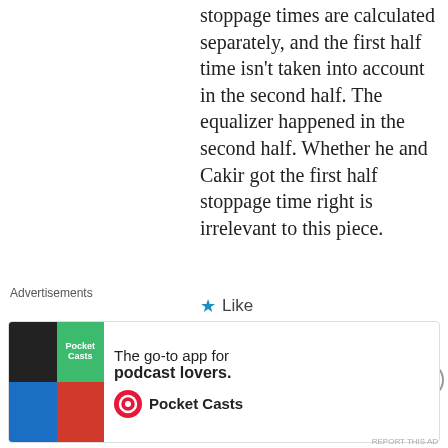stoppage times are calculated separately, and the first half time isn't taken into account in the second half. The equalizer happened in the second half. Whether he and Cakir got the first half stoppage time right is irrelevant to this piece.
★ Like
Reply
[Figure (screenshot): Dark navigation bar partially visible]
Advertisements
[Figure (infographic): Pocket Casts advertisement: The go-to app for podcast lovers. Shows app icon with green, red, blue and dark quadrants. Pocket Casts logo with circular icon.]